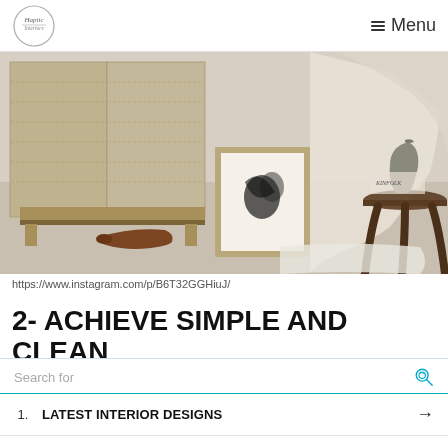Menu
[Figure (photo): Minimalist interior scene with woven cabinet, framed abstract art print on floor, draped cream throw blanket, small round wooden side table with metal vase, and brown leather slipper on light wood floor]
https://www.instagram.com/p/B6T32GGHiuJ/
2- ACHIEVE SIMPLE AND CLEAN
[Figure (screenshot): Yahoo Search sponsored ad overlay with search bar and two results: 1. LATEST INTERIOR DESIGNS, 2. ENTRYWAY DECORATING IDEAS]